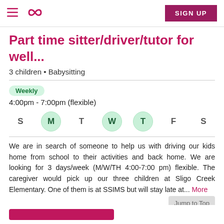Care.com navigation header with hamburger menu, logo, and SIGN UP button
Part time sitter/driver/tutor for well...
3 children • Babysitting
Weekly
4:00pm - 7:00pm (flexible)
[Figure (infographic): Days of week selector showing S M T W T F S with M, W, T (Thursday) highlighted in green circles]
We are in search of someone to help us with driving our kids home from school to their activities and back home. We are looking for 3 days/week (M/W/TH 4:00-7:00 pm) flexible. The caregiver would pick up our three children at Sligo Creek Elementary. One of them is at SSIMS but will stay late at... More